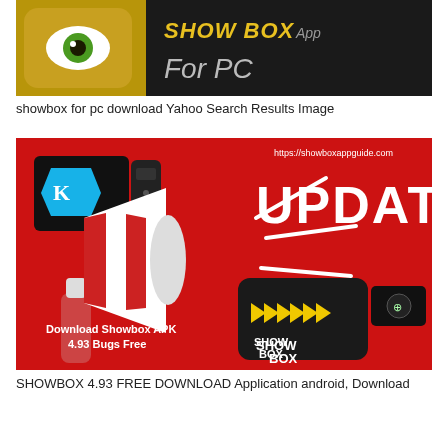[Figure (screenshot): Showbox App for PC promotional banner image with dark background, eye icon and golden text]
showbox for pc download Yahoo Search Results Image
[Figure (screenshot): Showbox update promotional image on red background with megaphone, Kodi TV box, Android box, and Showbox APK 4.93 download text. URL https://showboxappguide.com shown at top right.]
SHOWBOX 4.93 FREE DOWNLOAD Application android, Download